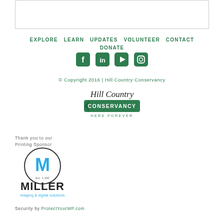[Figure (other): White box/container element at the top of the page]
EXPLORE  LEARN  UPDATES  VOLUNTEER  CONTACT  DONATE
[Figure (other): Social media icons: Facebook, LinkedIn, YouTube, Instagram — all in green rounded square style]
© Copyright 2016 | Hill Country Conservancy
[Figure (logo): Hill Country Conservancy logo — cursive 'Hill Country' text above green banner reading 'CONSERVANCY' with 'HERE FOREVER' below]
Thank you to our Printing Sponsor
[Figure (logo): Miller Imaging & Digital Solutions logo — circular M emblem with 'MILLER' in bold black letters and 'imaging & digital solutions' in teal below]
Security by ProtectYourWP.com